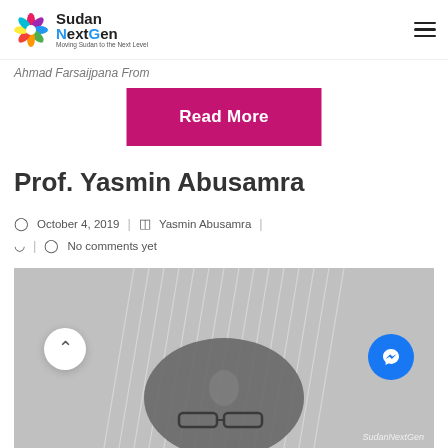[Figure (logo): Sudan NextGen logo with colorful swirl and tagline 'Moving Sudan to the Next Level']
Ahmad Farsaijpana From
Read More
Prof. Yasmin Abusamra
October 4, 2019  |  Yasmin Abusamra  |
No comments yet
[Figure (photo): Close-up photo of Prof. Yasmin Abusamra wearing a shimmery silver/white hijab and glasses, black and white tones]